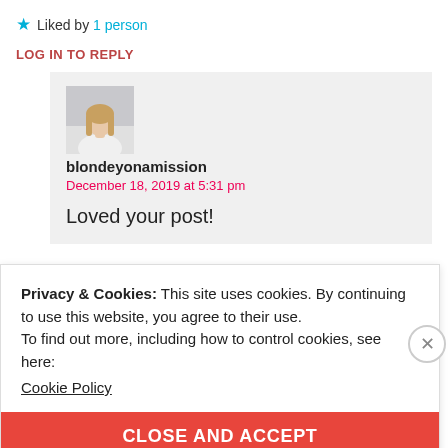★ Liked by 1 person
LOG IN TO REPLY
[Figure (photo): Avatar photo of a woman with long blonde hair wearing a white top]
blondeyonamission
December 18, 2019 at 5:31 pm
Loved your post!
Privacy & Cookies: This site uses cookies. By continuing to use this website, you agree to their use.
To find out more, including how to control cookies, see here:
Cookie Policy
CLOSE AND ACCEPT